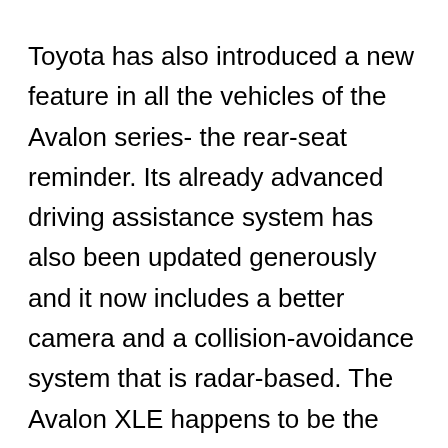Toyota has also introduced a new feature in all the vehicles of the Avalon series- the rear-seat reminder. Its already advanced driving assistance system has also been updated generously and it now includes a better camera and a collision-avoidance system that is radar-based. The Avalon XLE happens to be the most popular model in the series.